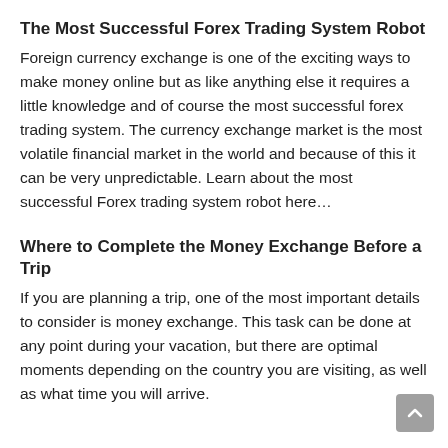The Most Successful Forex Trading System Robot
Foreign currency exchange is one of the exciting ways to make money online but as like anything else it requires a little knowledge and of course the most successful forex trading system. The currency exchange market is the most volatile financial market in the world and because of this it can be very unpredictable. Learn about the most successful Forex trading system robot here…
Where to Complete the Money Exchange Before a Trip
If you are planning a trip, one of the most important details to consider is money exchange. This task can be done at any point during your vacation, but there are optimal moments depending on the country you are visiting, as well as what time you will arrive.